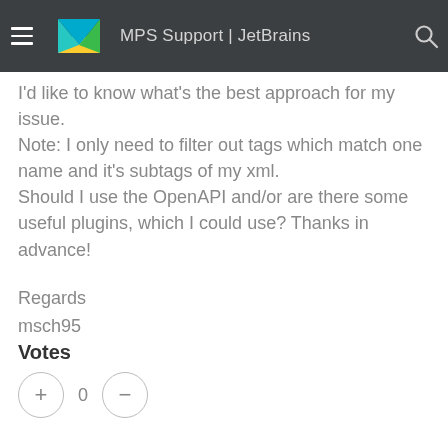MPS Support | JetBrains
I'd like to know what's the best approach for my issue.
Note: I only need to filter out tags which match one name and it's subtags of my xml.
Should I use the OpenAPI and/or are there some useful plugins, which I could use? Thanks in advance!
Regards
msch95
Votes